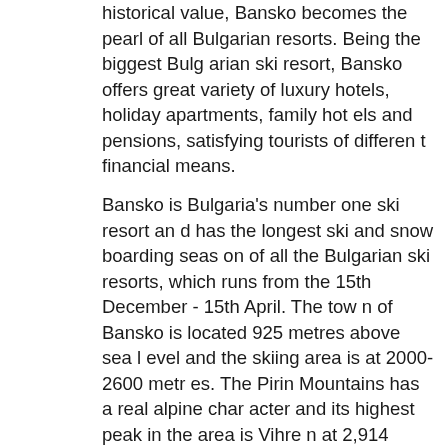historical value, Bansko becomes the pearl of all Bulgarian resorts. Being the biggest Bulgarian ski resort, Bansko offers great variety of luxury hotels, holiday apartments, family hotels and pensions, satisfying tourists of different financial means.
Bansko is Bulgaria's number one ski resort and has the longest ski and snow boarding season of all the Bulgarian ski resorts, which runs from the 15th December - 15th April. The town of Bansko is located 925 metres above sea level and the skiing area is at 2000-2600 metres. The Pirin Mountains has a real alpine character and its highest peak in the area is Vihren at 2,914 metres. Although largely a ski resort, the local council has been very effective in developing the area as an all year resort. So whether you enjoy some of the activities listed or just relax in the comfort of our apartment you are guaranteed to have a memorable summer and winter break. The Pirin Mountains are rich in wildlife, flora and fauna. The valleys of the Struma and Mesta rivers ensure th